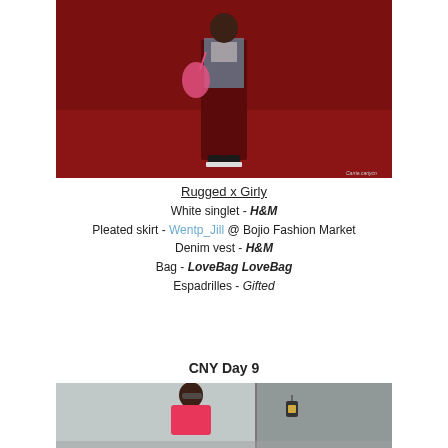[Figure (photo): Person standing on red carpet wearing a dark red pleated skirt, denim vest, white singlet, holding a pink bag, wearing black espadrilles. Red background wall.]
Rugged x Girly
White singlet - H&M
Pleated skirt - Wentp_Jill @ Bojio Fashion Market
Denim vest - H&M
Bag - LoveBag LoveBag
Espadrilles - Gifted
CNY Day 9
[Figure (photo): Young woman standing outdoors in front of a grey metallic wall, wearing sunglasses, a pink/coral long sleeve top and shorts. A lantern visible on the wall behind her.]